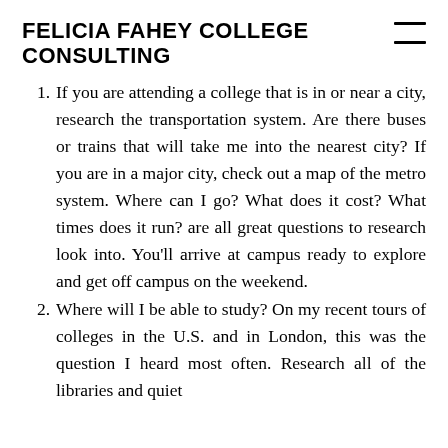FELICIA FAHEY COLLEGE CONSULTING
If you are attending a college that is in or near a city, research the transportation system. Are there buses or trains that will take me into the nearest city? If you are in a major city, check out a map of the metro system. Where can I go? What does it cost? What times does it run? are all great questions to research look into. You'll arrive at campus ready to explore and get off campus on the weekend.
Where will I be able to study? On my recent tours of colleges in the U.S. and in London, this was the question I heard most often. Research all of the libraries and quiet